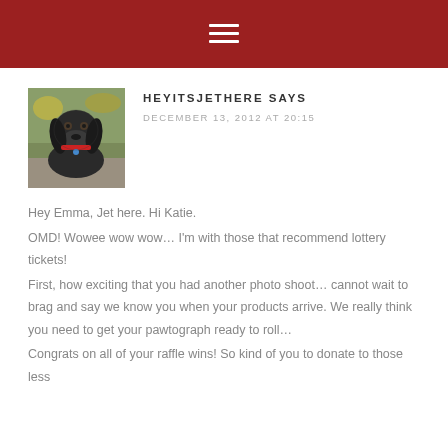≡
[Figure (photo): Photo of a dark-colored dog (possibly a flat-coated retriever or similar breed) sitting outdoors with green and yellow foliage in the background, wearing a red collar.]
HEYITSJETHERE SAYS
DECEMBER 13, 2012 AT 20:15
Hey Emma, Jet here. Hi Katie.
OMD! Wowee wow wow… I'm with those that recommend lottery tickets!
First, how exciting that you had another photo shoot… cannot wait to brag and say we know you when your products arrive. We really think you need to get your pawtograph ready to roll…
Congrats on all of your raffle wins! So kind of you to donate to those less